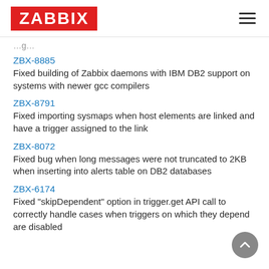ZABBIX
…g…
ZBX-8885
Fixed building of Zabbix daemons with IBM DB2 support on systems with newer gcc compilers
ZBX-8791
Fixed importing sysmaps when host elements are linked and have a trigger assigned to the link
ZBX-8072
Fixed bug when long messages were not truncated to 2KB when inserting into alerts table on DB2 databases
ZBX-6174
Fixed "skipDependent" option in trigger.get API call to correctly handle cases when triggers on which they depend are disabled